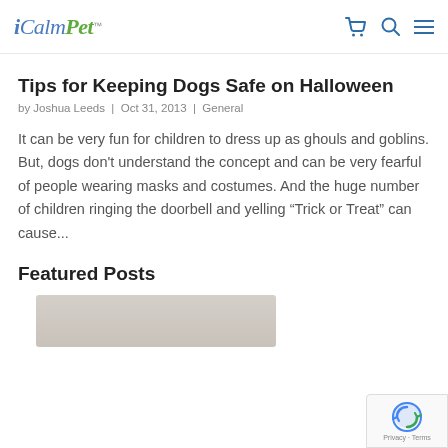iCalmPet
Tips for Keeping Dogs Safe on Halloween
by Joshua Leeds | Oct 31, 2013 | General
It can be very fun for children to dress up as ghouls and goblins. But, dogs don't understand the concept and can be very fearful of people wearing masks and costumes. And the huge number of children ringing the doorbell and yelling “Trick or Treat” can cause...
Featured Posts
[Figure (photo): Partial view of a featured post image, grey/beige tones]
[Figure (other): reCAPTCHA badge with Privacy and Terms links]